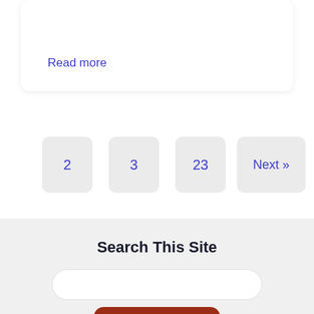Read more
2
3
23
Next »
Search This Site